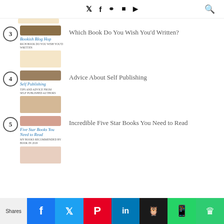Social media icons and search
3 - Which Book Do You Wish You'd Written?
4 - Advice About Self Publishing
5 - Incredible Five Star Books You Need to Read
Shares | Facebook | Twitter | Pinterest | LinkedIn | Owl | WhatsApp | Crown